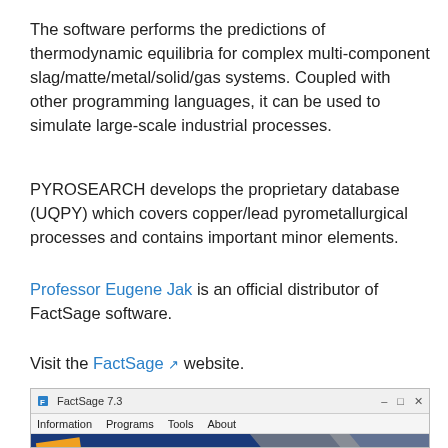The software performs the predictions of thermodynamic equilibria for complex multi-component slag/matte/metal/solid/gas systems. Coupled with other programming languages, it can be used to simulate large-scale industrial processes.
PYROSEARCH develops the proprietary database (UQPY) which covers copper/lead pyrometallurgical processes and contains important minor elements.
Professor Eugene Jak is an official distributor of FactSage software.
Visit the FactSage [external link icon] website.
[Figure (screenshot): Screenshot of FactSage 7.3 software window showing the title bar with minimize, restore and close buttons, a menu bar with Information, Programs, Tools, About, and a banner with the FactSage 7.3 logo on a dark blue background with the University of Queensland text.]